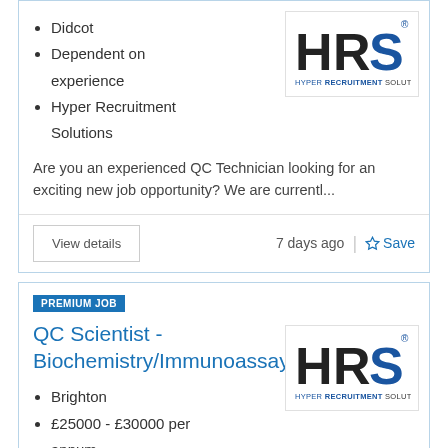Didcot
Dependent on experience
Hyper Recruitment Solutions
[Figure (logo): HRS Hyper Recruitment Solutions logo]
Are you an experienced QC Technician looking for an exciting new job opportunity? We are currentl...
View details
7 days ago | Save
PREMIUM JOB
QC Scientist - Biochemistry/Immunoassay
Brighton
£25000 - £30000 per annum
Hyper Recruitment
[Figure (logo): HRS Hyper Recruitment Solutions logo]